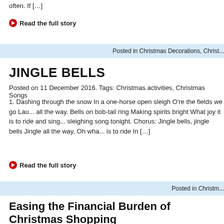often. If […]
Read the full story
Posted in Christmas Decorations, Christ…
JINGLE BELLS
Posted on 11 December 2016. Tags: Christmas activities, Christmas Songs
1. Dashing through the snow In a one-horse open sleigh O're the fields we go Lau… all the way. Bells on bob-tail ring Making spirits bright What joy it is to ride and sing… sleighing song tonight. Chorus: Jingle bells, jingle bells Jingle all the way, Oh wha… is to ride In […]
Read the full story
Posted in Christm…
Easing the Financial Burden of Christmas Shopping
Posted on 11 December 2016. Tags: Christmas budget, Christmas money, Christmas Sho… Christmas shopping tips